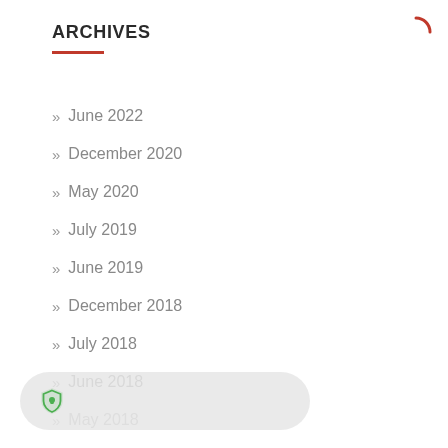ARCHIVES
» June 2022
» December 2020
» May 2020
» July 2019
» June 2019
» December 2018
» July 2018
» June 2018
» May 2018
» April 2018